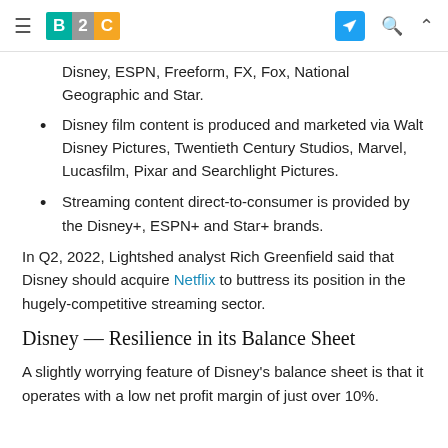B2C [logo] [telegram icon] [search icon] [chevron icon]
Disney, ESPN, Freeform, FX, Fox, National Geographic and Star.
Disney film content is produced and marketed via Walt Disney Pictures, Twentieth Century Studios, Marvel, Lucasfilm, Pixar and Searchlight Pictures.
Streaming content direct-to-consumer is provided by the Disney+, ESPN+ and Star+ brands.
In Q2, 2022, Lightshed analyst Rich Greenfield said that Disney should acquire Netflix to buttress its position in the hugely-competitive streaming sector.
Disney — Resilience in its Balance Sheet
A slightly worrying feature of Disney's balance sheet is that it operates with a low net profit margin of just over 10%.